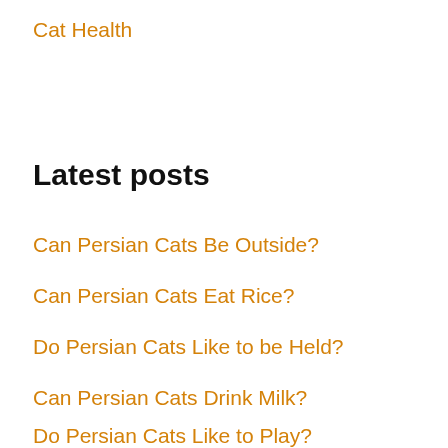Cat Health
Latest posts
Can Persian Cats Be Outside?
Can Persian Cats Eat Rice?
Do Persian Cats Like to be Held?
Can Persian Cats Drink Milk?
Do Persian Cats Like to Play?